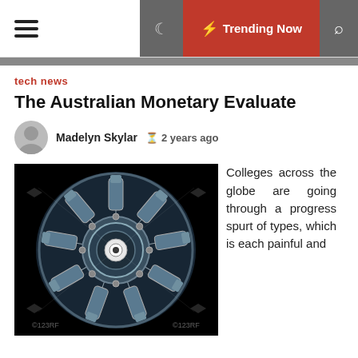☰  ☾  ⚡ Trending Now  🔍
tech news
The Australian Monetary Evaluate
Madelyn Skylar  🕐 2 years ago
[Figure (photo): Radial aircraft engine viewed from the front, on a black background, with chrome/steel components, watermarked 123RF]
Colleges across the globe are going through a progress spurt of types, which is each painful and